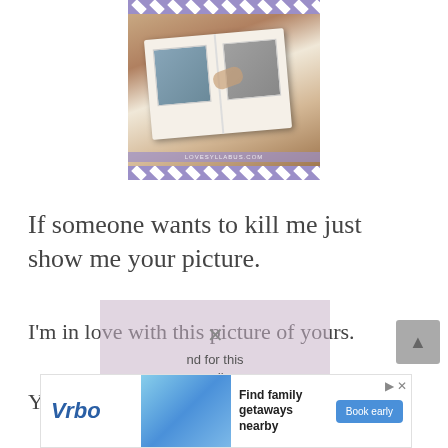[Figure (photo): A couple looking at a photo book together, shown from above. The image has purple film-strip style borders at top and bottom with diagonal white notches. A watermark reads LOVESYLLABUS.COM at the bottom.]
If someone wants to kill me just show me your picture.
I'm in love with this picture of yours.
Your picture is enough to make me feel
[Figure (other): Ad overlay: Vrbo advertisement with text 'Find family getaways nearby' and 'Book early' button]
[Figure (other): Media not found overlay with X mark over pink/purple background]